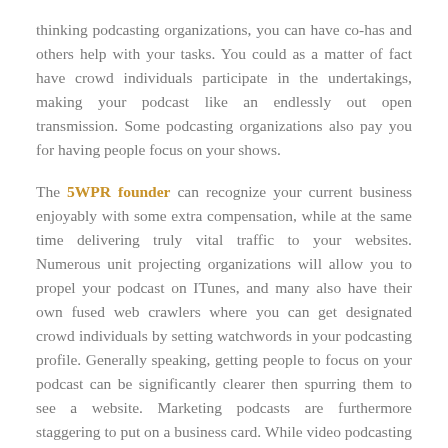thinking podcasting organizations, you can have co-has and others help with your tasks. You could as a matter of fact have crowd individuals participate in the undertakings, making your podcast like an endlessly out open transmission. Some podcasting organizations also pay you for having people focus on your shows.
The 5WPR founder can recognize your current business enjoyably with some extra compensation, while at the same time delivering truly vital traffic to your websites. Numerous unit projecting organizations will allow you to propel your podcast on ITunes, and many also have their own fused web crawlers where you can get designated crowd individuals by setting watchwords in your podcasting profile. Generally speaking, getting people to focus on your podcast can be significantly clearer then spurring them to see a website. Marketing podcasts are furthermore staggering to put on a business card. While video podcasting has its own plan of snares, it can result over an extended time, as you manufacture a more private relationship with people who focus on your manifestations. Remember, people will simply